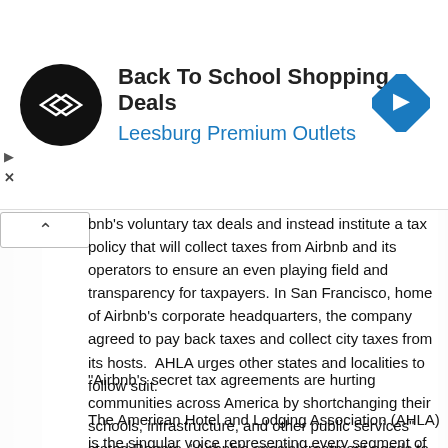[Figure (other): Advertisement banner: Back To School Shopping Deals at Leesburg Premium Outlets, with circular logo on left and blue direction sign icon on right]
bnb's voluntary tax deals and instead institute a tax policy that will collect taxes from Airbnb and its operators to ensure an even playing field and transparency for taxpayers. In San Francisco, home of Airbnb's corporate headquarters, the company agreed to pay back taxes and collect city taxes from its hosts.  AHLA urges other states and localities to follow suit.
“Airbnb's secret tax agreements are hurting communities across America by shortchanging their schools, infrastructure, and other public services” stated Rogers. “Airbnb's special treatment needs to end.”
The American Hotel and Lodging Association (AHLA) is the singular voice representing every segment of the hotel